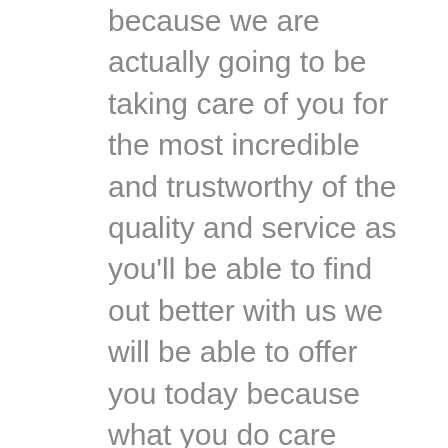because we are actually going to be taking care of you for the most incredible and trustworthy of the quality and service as you'll be able to find out better with us we will be able to offer you today because what you do care about any customer
We are also going to be able to give you the best in quite a bit of a quality for any services you are going to be searching for today because our company issued going to be listening to any customers we can give you the best of us as you are going to be looking for today because we are